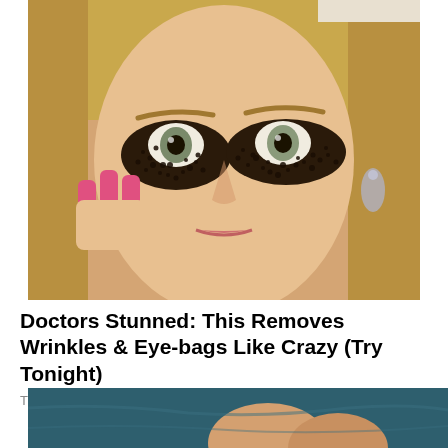[Figure (photo): Close-up photo of a blonde woman applying dark coffee grounds or similar granules under her eyes with her pink-nailed fingers. She wears teardrop earrings. The treatment is applied around both eyes as an under-eye beauty remedy.]
Doctors Stunned: This Removes Wrinkles & Eye-bags Like Crazy (Try Tonight)
Trending New Finds
[Figure (photo): Partial photo showing a person in teal/dark blue jeans crouching, with bare skin visible at the knees.]